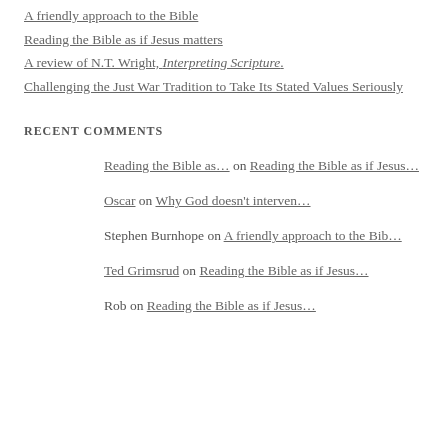A friendly approach to the Bible
Reading the Bible as if Jesus matters
A review of N.T. Wright, Interpreting Scripture.
Challenging the Just War Tradition to Take Its Stated Values Seriously
RECENT COMMENTS
Reading the Bible as… on Reading the Bible as if Jesus…
Oscar on Why God doesn't interven…
Stephen Burnhope on A friendly approach to the Bib…
Ted Grimsrud on Reading the Bible as if Jesus…
Rob on Reading the Bible as if Jesus…